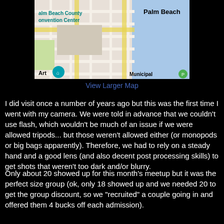[Figure (map): Google Maps screenshot showing Palm Beach County Convention Center and surrounding area with street grid and water]
View Larger Map
I did visit once a number of years ago but this was the first time I went with my camera. We were told in advance that we couldn't use flash, which wouldn't be much of an issue if we were allowed tripods... but those weren't allowed either (or monopods or big bags apparently). Therefore, we had to rely on a steady hand and a good lens (and also decent post processing skills) to get shots that weren't too dark and/or blurry.
Only about 20 showed up for this month's meetup but it was the perfect size group (ok, only 18 showed up and we needed 20 to get the group discount, so we "recruited" a couple going in and offered them 4 bucks off each admission).